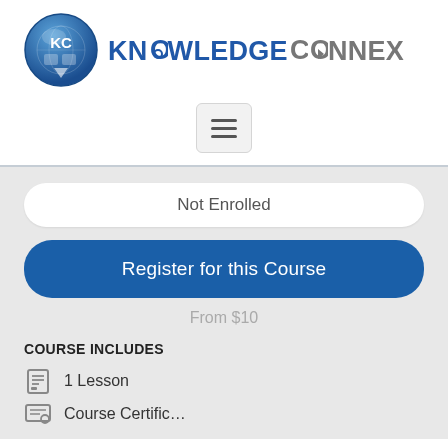[Figure (logo): KnowledgeConnex logo: blue circular icon with KC puzzle piece and globe, followed by KNOWLEDGECONNEX text in blue and gray]
[Figure (screenshot): Hamburger menu button (three horizontal lines) inside a light gray rounded rectangle]
Not Enrolled
Register for this Course
From $10
COURSE INCLUDES
1 Lesson
Course Certificate (partially visible)